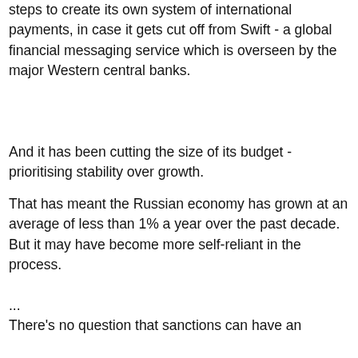steps to create its own system of international payments, in case it gets cut off from Swift - a global financial messaging service which is overseen by the major Western central banks.
And it has been cutting the size of its budget - prioritising stability over growth.
That has meant the Russian economy has grown at an average of less than 1% a year over the past decade. But it may have become more self-reliant in the process.
...
There's no question that sanctions can have an impact, but a package as broad as this has never been imposed on an economy as large as Russia.
And to make it effective, the West would have to be in it for the long haul.
This was all theory last week, now we come to